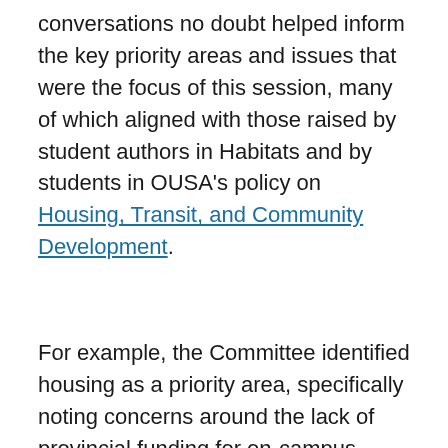conversations no doubt helped inform the key priority areas and issues that were the focus of this session, many of which aligned with those raised by student authors in Habitats and by students in OUSA's policy on Housing, Transit, and Community Development.
For example, the Committee identified housing as a priority area, specifically noting concerns around the lack of provincial funding for on-campus housing, barriers to students accessing off-campus and purpose-built student housing, and lack of student awareness of by-laws and their rights as tenants. Not only did the